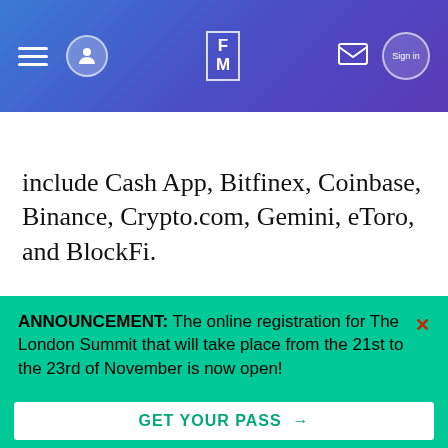Finance Magnates navigation bar with hamburger menu, avatar icon, FM logo, mail icon, and sign in button
Atompix: Most Innovative Trading Platform For 2022
include Cash App, Bitfinex, Coinbase, Binance, Crypto.com, Gemini, eToro, and BlockFi.
Security Risks of Storing Crypto on Exchanges
ANNOUNCEMENT: The online registration for The London Summit that will take place from the 21st to the 23rd of November is now open!
GET YOUR PASS →